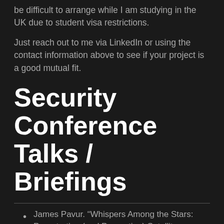be difficult to arrange while I am studying in the UK due to student visa restrictions.
Just reach out to me via LinkedIn or using the contact information above to see if your project is a good mutual fit.
Security Conference Talks / Briefings
James Pavur. “Whispers Among the Stars: Perpetrating (and Preventing) Satellite Eavesdropping Attacks.”, DEFCON 28. (Upcoming).
James Pavur. “Whispers Among the Stars: